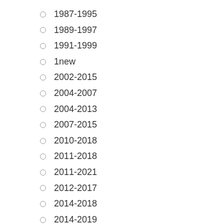1987-1995
1989-1997
1991-1999
1new
2002-2015
2004-2007
2004-2013
2007-2015
2010-2018
2011-2018
2011-2021
2012-2017
2014-2018
2014-2019
2015-2018
2017-2019